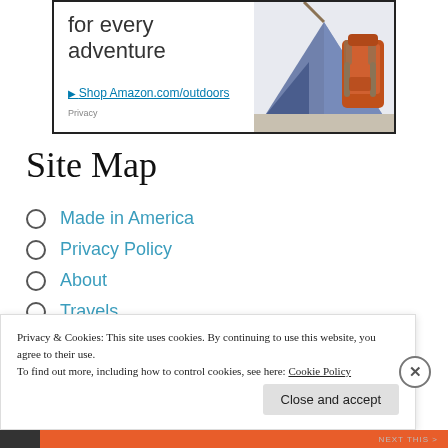[Figure (illustration): Amazon outdoor advertisement banner showing text 'for every adventure', a shop link 'Shop Amazon.com/outdoors', and an image of a tent and backpack on the right side. Privacy text at bottom left.]
Site Map
Made in America
Privacy Policy
About
Travels
Privacy & Cookies: This site uses cookies. By continuing to use this website, you agree to their use.
To find out more, including how to control cookies, see here: Cookie Policy
Close and accept